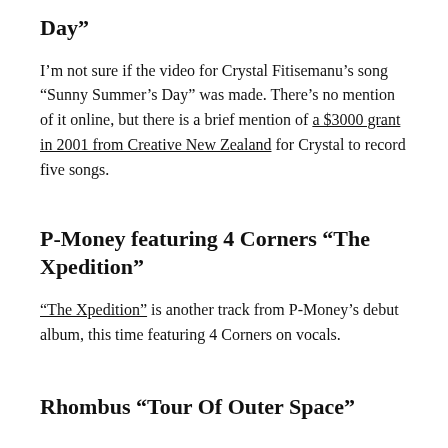Day”
I’m not sure if the video for Crystal Fitisemanu’s song “Sunny Summer’s Day” was made. There’s no mention of it online, but there is a brief mention of a $3000 grant in 2001 from Creative New Zealand for Crystal to record five songs.
P-Money featuring 4 Corners “The Xpedition”
“The Xpedition” is another track from P-Money’s debut album, this time featuring 4 Corners on vocals.
Rhombus “Tour Of Outer Space”